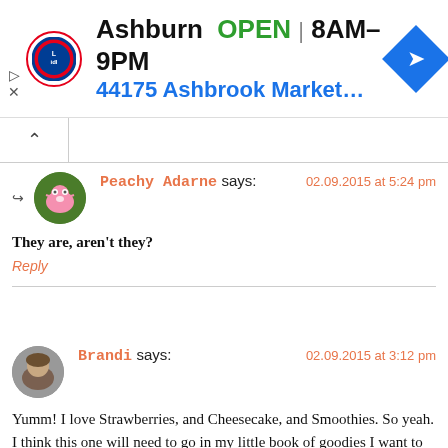[Figure (screenshot): Lidl store ad banner showing Ashburn location, OPEN 8AM-9PM, address 44175 Ashbrook Marketplac..., with Lidl logo and blue navigation arrow diamond icon]
Peachy Adarne says:
02.09.2015 at 5:24 pm
They are, aren't they?
Reply
Brandi says:
02.09.2015 at 3:12 pm
Yumm! I love Strawberries, and Cheesecake, and Smoothies. So yeah. I think this one will need to go in my little book of goodies I want to make and not share.